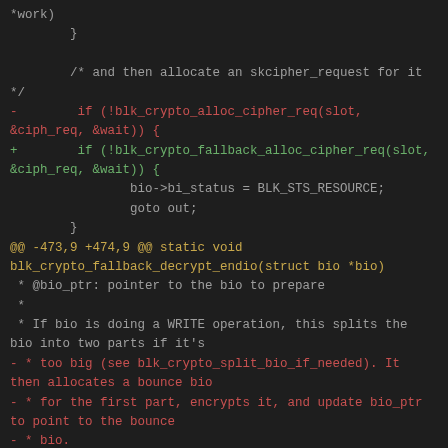Code diff showing changes to blk_crypto fallback functions including allocate skcipher_request, if (!blk_crypto_alloc_cipher_req changed to blk_crypto_fallback_alloc_cipher_req, and documentation comment updates about bio WRITE operation splitting.